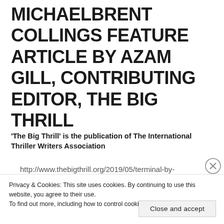MICHAELBRENT COLLINGS FEATURE ARTICLE BY AZAM GILL, CONTRIBUTING EDITOR, THE BIG THRILL
'The Big Thrill' is the publication of The International Thriller Writers Association
http://www.thebigthrill.org/2019/05/terminal-by-
Privacy & Cookies: This site uses cookies. By continuing to use this website, you agree to their use.
To find out more, including how to control cookies, see here: Cookie Policy
Close and accept